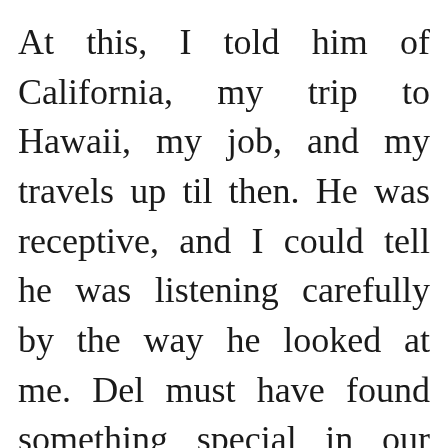At this, I told him of California, my trip to Hawaii, my job, and my travels up til then. He was receptive, and I could tell he was listening carefully by the way he looked at me. Del must have found something special in our short conversation, because he suggested that we stay in touch.